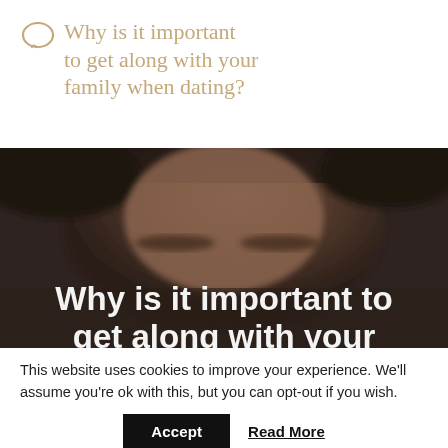Why is it important to get along with your family when dating?
[Figure (photo): Close-up blurred photo of a person's face (eyes and forehead visible) with white bold text overlay reading 'Why is it important to get along with your']
This website uses cookies to improve your experience. We'll assume you're ok with this, but you can opt-out if you wish.
Accept  Read More